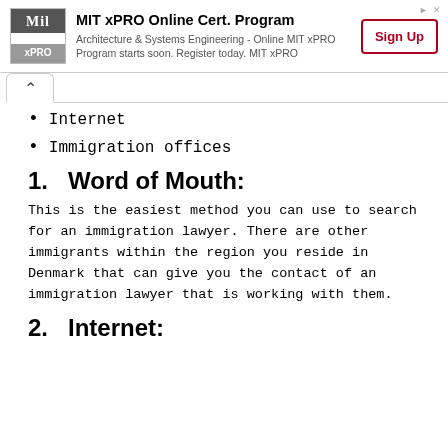[Figure (other): MIT xPRO Online Cert. Program advertisement banner with logo, description text, and Sign Up button]
Internet
Immigration offices
1.   Word of Mouth:
This is the easiest method you can use to search for an immigration lawyer. There are other immigrants within the region you reside in Denmark that can give you the contact of an immigration lawyer that is working with them.
2.   Internet: